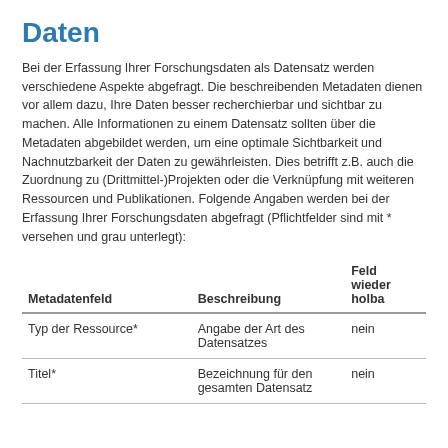Daten
Bei der Erfassung Ihrer Forschungsdaten als Datensatz werden verschiedene Aspekte abgefragt. Die beschreibenden Metadaten dienen vor allem dazu, Ihre Daten besser recherchierbar und sichtbar zu machen. Alle Informationen zu einem Datensatz sollten über die Metadaten abgebildet werden, um eine optimale Sichtbarkeit und Nachnutzbarkeit der Daten zu gewährleisten. Dies betrifft z.B. auch die Zuordnung zu (Drittmittel-)Projekten oder die Verknüpfung mit weiteren Ressourcen und Publikationen. Folgende Angaben werden bei der Erfassung Ihrer Forschungsdaten abgefragt (Pflichtfelder sind mit * versehen und grau unterlegt):
| Metadatenfeld | Beschreibung | Feld wiederholbar |
| --- | --- | --- |
| Typ der Ressource* | Angabe der Art des Datensatzes | nein |
| Titel* | Bezeichnung für den gesamten Datensatz | nein |